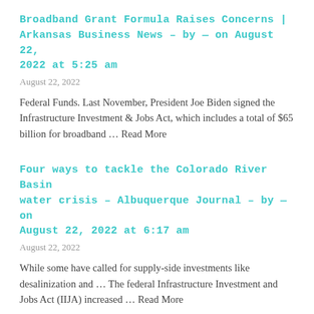Broadband Grant Formula Raises Concerns | Arkansas Business News – by — on August 22, 2022 at 5:25 am
August 22, 2022
Federal Funds. Last November, President Joe Biden signed the Infrastructure Investment & Jobs Act, which includes a total of $65 billion for broadband … Read More
Four ways to tackle the Colorado River Basin water crisis – Albuquerque Journal – by — on August 22, 2022 at 6:17 am
August 22, 2022
While some have called for supply-side investments like desalinization and … The federal Infrastructure Investment and Jobs Act (IIJA) increased … Read More
America's Broadband Treasure: Can It Be Properly Funded? | Multichannel News – Nexttv –